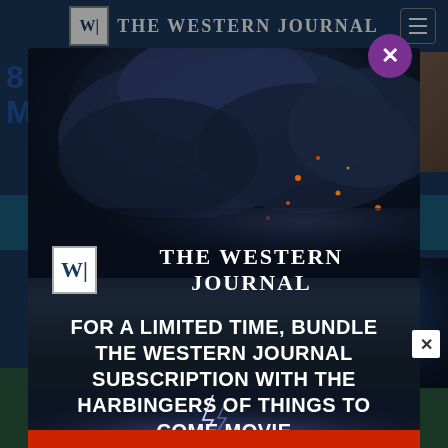THE WESTERN JOURNAL
8
M
[Figure (screenshot): Modal popup overlay on The Western Journal website. Modal shows a dark volcanic smoke cloud background image with The Western Journal logo and text: FOR A LIMITED TIME, BUNDLE THE WESTERN JOURNAL SUBSCRIPTION WITH THE HARBINGERS OF THINGS TO COME MOVIE. Purple X close button at top right of modal.]
FOR A LIMITED TIME, BUNDLE THE WESTERN JOURNAL SUBSCRIPTION WITH THE HARBINGERS OF THINGS TO COME MOVIE